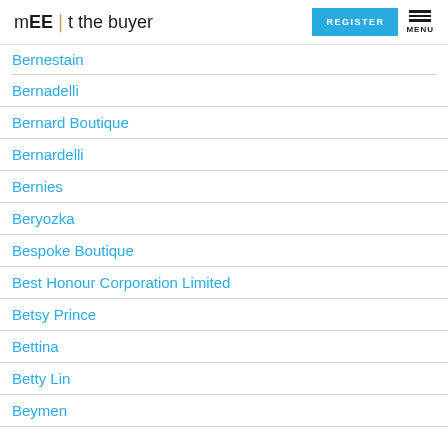mEEt the buyer | REGISTER | MENU
Bernestain
Bernadelli
Bernard Boutique
Bernardelli
Bernies
Beryozka
Bespoke Boutique
Best Honour Corporation Limited
Betsy Prince
Bettina
Betty Lin
Beymen